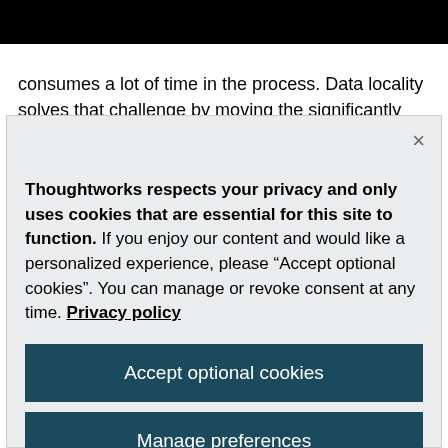Decoder
consumes a lot of time in the process. Data locality solves that challenge by moving the significantly lighter processing code to the data instead.
Thoughtworks respects your privacy and only uses cookies that are essential for this site to function. If you enjoy our content and would like a personalized experience, please “Accept optional cookies”. You can manage or revoke consent at any time. Privacy policy
Accept optional cookies
Manage preferences